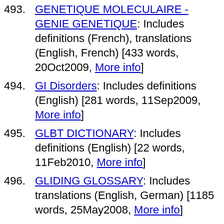493. GENETIQUE MOLECULAIRE - GENIE GENETIQUE: Includes definitions (French), translations (English, French) [433 words, 20Oct2009, More info]
494. GI Disorders: Includes definitions (English) [281 words, 11Sep2009, More info]
495. GLBT DICTIONARY: Includes definitions (English) [22 words, 11Feb2010, More info]
496. GLIDING GLOSSARY: Includes translations (English, German) [1185 words, 25May2008, More info]
497. GLOSARIO BASICO INGLES-ESPAÑOL PARA USUARIOS DE INTERNET: Includes definitions (Spanish),